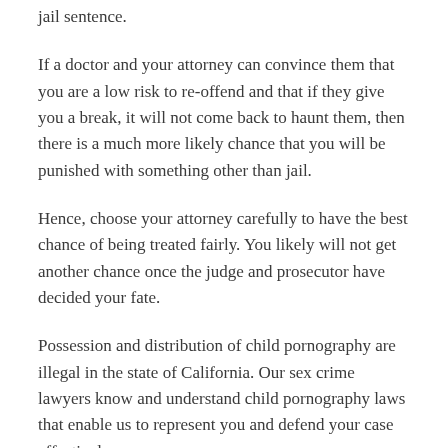jail sentence.
If a doctor and your attorney can convince them that you are a low risk to re-offend and that if they give you a break, it will not come back to haunt them, then there is a much more likely chance that you will be punished with something other than jail.
Hence, choose your attorney carefully to have the best chance of being treated fairly. You likely will not get another chance once the judge and prosecutor have decided your fate.
Possession and distribution of child pornography are illegal in the state of California. Our sex crime lawyers know and understand child pornography laws that enable us to represent you and defend your case effectively.
Child pornography charges may result in a year in